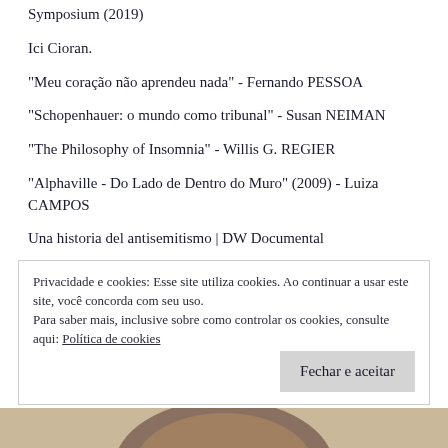Symposium (2019)
Ici Cioran.
"Meu coração não aprendeu nada" - Fernando PESSOA
"Schopenhauer: o mundo como tribunal" - Susan NEIMAN
"The Philosophy of Insomnia" - Willis G. REGIER
"Alphaville - Do Lado de Dentro do Muro" (2009) - Luiza CAMPOS
Una historia del antisemitismo | DW Documental
Privacidade e cookies: Esse site utiliza cookies. Ao continuar a usar este site, você concorda com seu uso.
Para saber mais, inclusive sobre como controlar os cookies, consulte aqui: Política de cookies
Fechar e aceitar
[Figure (photo): Bottom strip showing what appears to be the top of a person's head/hair]